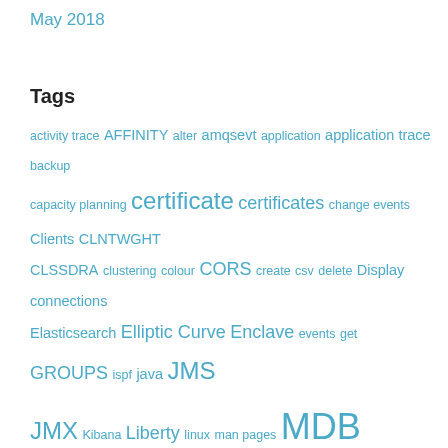May 2018
Tags
activity trace AFFINITY alter amqsevt application application trace backup capacity planning certificate certificates change events Clients CLNTWGHT CLSSDRA clustering colour CORS create csv delete Display connections Elasticsearch Elliptic Curve Enclave events get GROUPS ispf java JMS JMX Kibana Liberty linux man pages MDB Midrange migration monitoring MQ mqconsole mq reason code mq reconnect MQCNO mqstrerror mqweb offload messages OSGI PCF PDS PDSE performance put Python RACF reconnection rest RSA scalability self signed server setmqaut shared conversation Shared queue SMF SSLCIPH statistics su SYSTEM.ADMIN.ACCOUNTING.QUEUE TLS